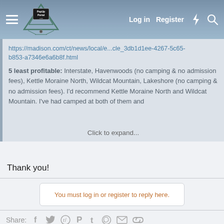PopUpPortal.com — Log in | Register
https://madison.com/ct/news/local/e...cle_3db1d1ee-4267-5c65-b853-a7346e6a6b8f.html
5 least profitable: Interstate, Havenwoods (no camping & no admission fees), Kettle Moraine North, Wildcat Mountain, Lakeshore (no camping & no admission fees). I'd recommend Kettle Moraine North and Wildcat Mountain. I've had camped at both of them and
Click to expand...
Thank you!
You must log in or register to reply here.
Share:
Latest posts
Avalon tank monitor not working
Latest: GalsofEscape · 2 minutes ago